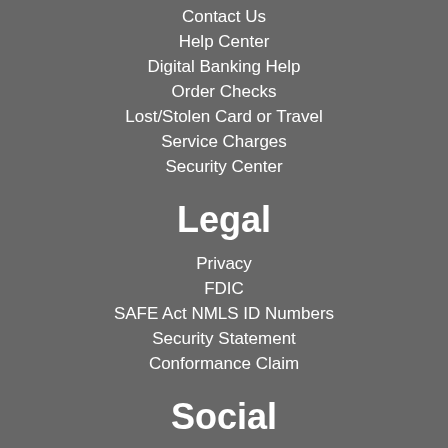Contact Us
Help Center
Digital Banking Help
Order Checks
Lost/Stolen Card or Travel
Service Charges
Security Center
Legal
Privacy
FDIC
SAFE Act NMLS ID Numbers
Security Statement
Conformance Claim
Social